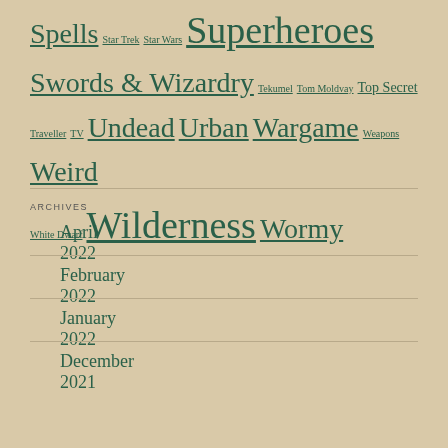Spells Star Trek Star Wars Superheroes Swords & Wizardry Tekumel Tom Moldvay Top Secret Traveller TV Undead Urban Wargame Weapons Weird White Dwarf Wilderness Wormy
ARCHIVES
April 2022
February 2022
January 2022
December 2021